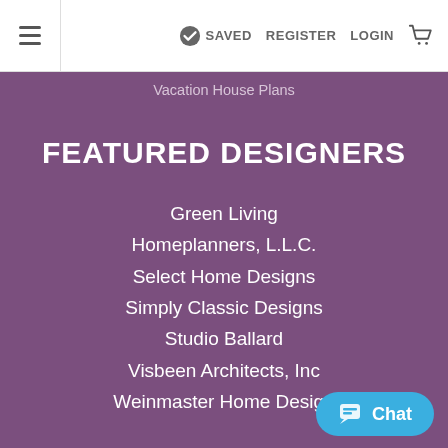≡  ✓ SAVED  REGISTER  LOGIN  🛒
Vacation House Plans
FEATURED DESIGNERS
Green Living
Homeplanners, L.L.C.
Select Home Designs
Simply Classic Designs
Studio Ballard
Visbeen Architects, Inc
Weinmaster Home Design
RESOURCES
Chat